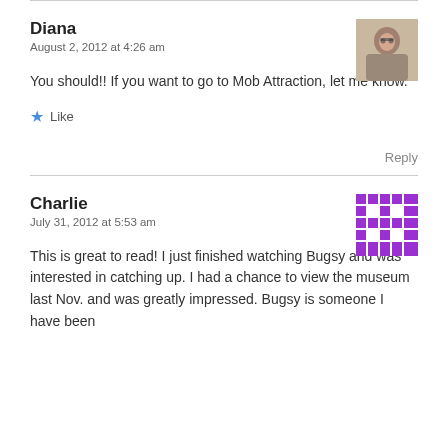Diana
August 2, 2012 at 4:26 am
You should!! If you want to go to Mob Attraction, let me know.
Like
Reply
[Figure (photo): Profile photo of Diana - woman wearing glasses]
Charlie
July 31, 2012 at 5:53 am
[Figure (illustration): Pixelated purple avatar icon for Charlie]
This is great to read! I just finished watching Bugsy and was interested in catching up. I had a chance to view the museum last Nov. and was greatly impressed. Bugsy is someone I have been